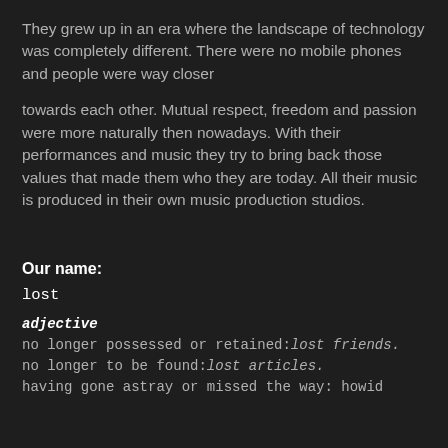They grew up in an era where the landscape of technology was completely different. There were no mobile phones and people were way closer
towards each other. Mutual respect, freedom and passion were more naturally then nowadays. With their performances and music they try to bring back those values that made them who they are today. All their music is produced in their own music production studios.
Our name:
lost
adjective
no longer possessed or retained: lost friends.
no longer to be found: lost articles.
having gone astray or missed the way: howid